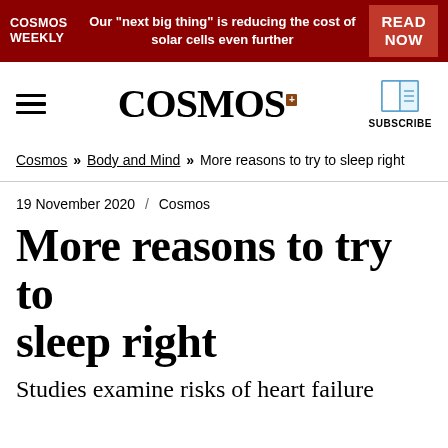COSMOS WEEKLY | Our "next big thing" is reducing the cost of solar cells even further | READ NOW
[Figure (logo): Cosmos magazine logo with hamburger menu and subscribe button]
Cosmos » Body and Mind » More reasons to try to sleep right
19 November 2020  /  Cosmos
More reasons to try to sleep right
Studies examine risks of heart failure